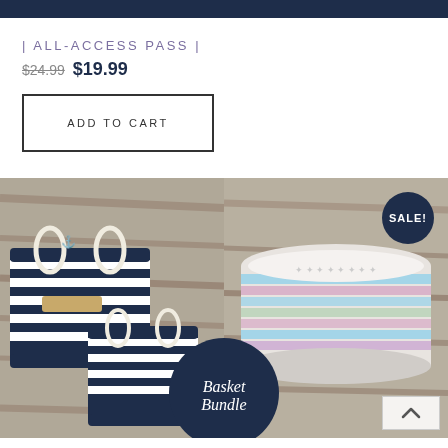| ALL-ACCESS PASS |
$24.99 $19.99
ADD TO CART
[Figure (photo): Two navy and white striped crochet baskets with rope handles and anchor embellishments on the left; pastel multicolor striped crochet bowl on the right. A circular navy badge overlay reads 'Basket Bundle'. A SALE! badge appears top right.]